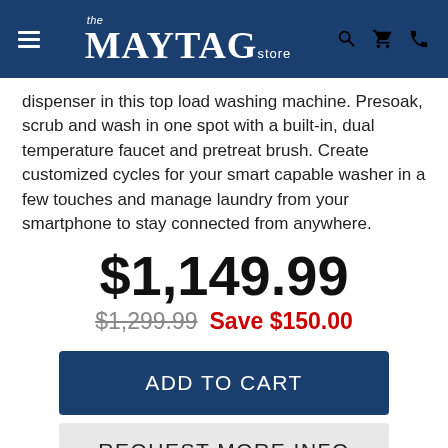the MAYTAG store
dispenser in this top load washing machine. Presoak, scrub and wash in one spot with a built-in, dual temperature faucet and pretreat brush. Create customized cycles for your smart capable washer in a few touches and manage laundry from your smartphone to stay connected from anywhere.
$1,149.99
$1,299.99  Save $150.00
ADD TO CART
REQUEST MORE INFO